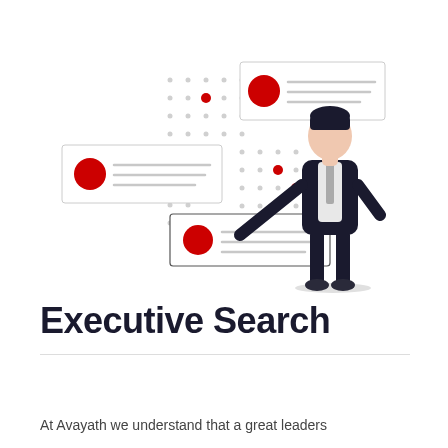[Figure (illustration): Flat-style illustration of a person in a dark suit standing and pointing to or presenting a board/screen. The background shows multiple dot-grid patterns and three rectangular card UI elements, each featuring a large red circle on the left and grey horizontal lines representing text. Two cards are positioned in the upper area, one card below centre. The overall design suggests a search or data presentation interface.]
Executive Search
At Avayath we understand that a great leaders